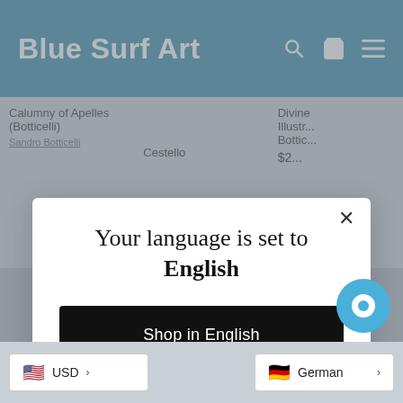Blue Surf Art
Calumny of Apelles (Botticelli)
Sandro Botticelli
Cestello
Divine Illustr... Bottic...
$2...
Your language is set to English
Shop in English
Change language
USD
German